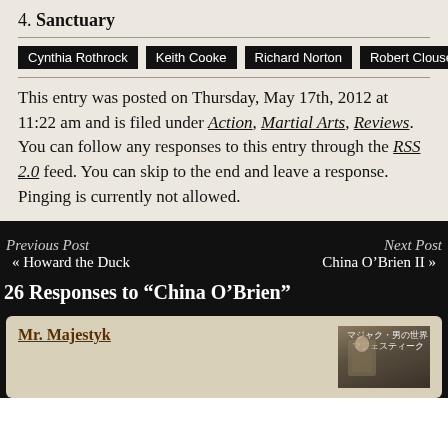4. Sanctuary
Cynthia Rothrock
Keith Cooke
Richard Norton
Robert Clouse
This entry was posted on Thursday, May 17th, 2012 at 11:22 am and is filed under Action, Martial Arts, Reviews. You can follow any responses to this entry through the RSS 2.0 feed. You can skip to the end and leave a response. Pinging is currently not allowed.
Previous Post
« Howard the Duck
Next Post
China O’Brien II »
26 Responses to “China O’Brien”
Mr. Majestyk